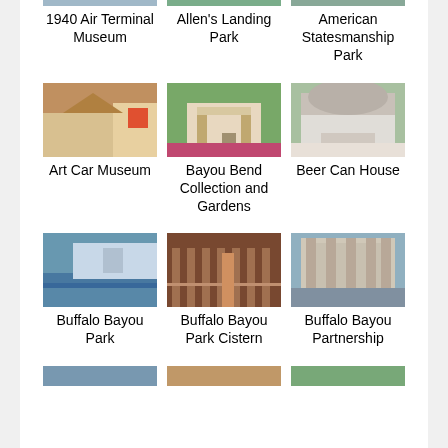[Figure (photo): 1940 Air Terminal Museum - photo partially visible at top]
1940 Air Terminal Museum
[Figure (photo): Allen's Landing Park - photo partially visible at top]
Allen's Landing Park
[Figure (photo): American Statesmanship Park - photo partially visible at top]
American Statesmanship Park
[Figure (photo): Art Car Museum exterior]
Art Car Museum
[Figure (photo): Bayou Bend Collection and Gardens exterior]
Bayou Bend Collection and Gardens
[Figure (photo): Beer Can House exterior]
Beer Can House
[Figure (photo): Buffalo Bayou Park - river and city skyline]
Buffalo Bayou Park
[Figure (photo): Buffalo Bayou Park Cistern - interior with columns]
Buffalo Bayou Park Cistern
[Figure (photo): Buffalo Bayou Partnership - building under construction]
Buffalo Bayou Partnership
[Figure (photo): Partial photo at bottom left]
[Figure (photo): Partial photo at bottom center]
[Figure (photo): Partial photo at bottom right]